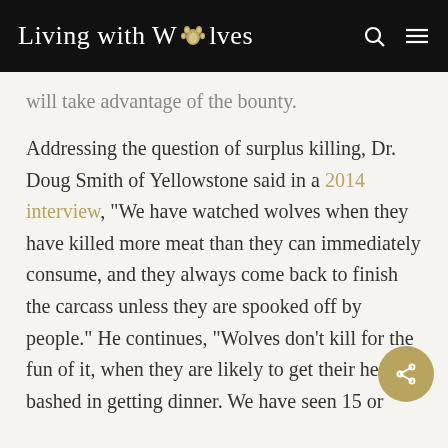Living with Wolves
will take advantage of the bounty.
Addressing the question of surplus killing, Dr. Doug Smith of Yellowstone said in a 2014 interview, “We have watched wolves when they have killed more meat than they can immediately consume, and they always come back to finish the carcass unless they are spooked off by people.” He continues, “Wolves don’t kill for the fun of it, when they are likely to get their head bashed in getting dinner. We have seen 15 or more wolves that have killed big